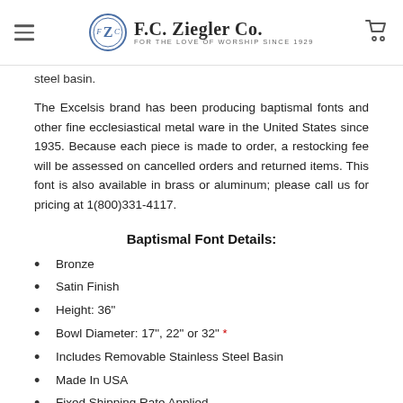F.C. Ziegler Co. — For the Love of Worship Since 1929
steel basin.
The Excelsis brand has been producing baptismal fonts and other fine ecclesiastical metal ware in the United States since 1935. Because each piece is made to order, a restocking fee will be assessed on cancelled orders and returned items. This font is also available in brass or aluminum; please call us for pricing at 1(800)331-4117.
Baptismal Font Details:
Bronze
Satin Finish
Height: 36"
Bowl Diameter: 17", 22" or 32" *
Includes Removable Stainless Steel Basin
Made In USA
Fixed Shipping Rate Applied